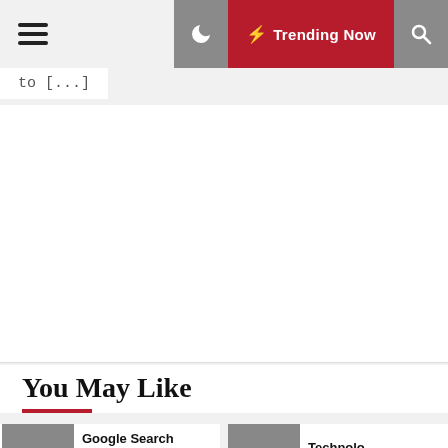☰  [o [...]]  ☾  ⚡ Trending Now  🔍
to [...]
You May Like
Google Search Engine For Android
Technolo…